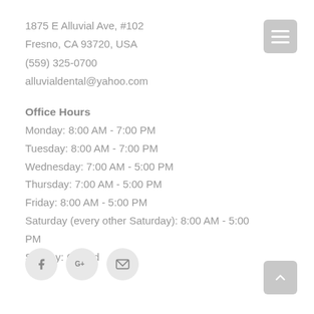1875 E Alluvial Ave, #102
Fresno, CA 93720, USA
(559) 325-0700
alluvialdental@yahoo.com
Office Hours
Monday: 8:00 AM - 7:00 PM
Tuesday: 8:00 AM - 7:00 PM
Wednesday: 7:00 AM - 5:00 PM
Thursday: 7:00 AM - 5:00 PM
Friday: 8:00 AM - 5:00 PM
Saturday (every other Saturday): 8:00 AM - 5:00 PM
Sunday: Closed
[Figure (infographic): Social media icons: Facebook, Google+, and email envelope, each in a light gray circle]